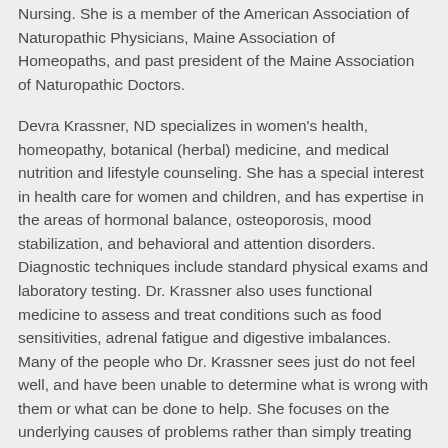Nursing.  She is a member of the American Association of Naturopathic Physicians, Maine Association of Homeopaths, and past president of the Maine Association of Naturopathic Doctors.
Devra Krassner, ND specializes in women's health, homeopathy, botanical (herbal) medicine, and medical nutrition and lifestyle counseling. She has a special interest in health care for women and children, and has expertise in the areas of hormonal balance, osteoporosis, mood stabilization, and behavioral and attention disorders.  Diagnostic techniques include standard physical exams and laboratory testing. Dr. Krassner also uses functional medicine to assess and treat conditions such as food sensitivities, adrenal fatigue and digestive imbalances. Many of the people who Dr. Krassner sees just do not feel well, and have been unable to determine what is wrong with them or what can be done to help. She focuses on the underlying causes of problems rather than simply treating the symptoms.
Dr. Krassner is committed to sharing information with people